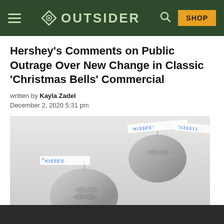OUTSIDER | SHOP
Hershey's Comments on Public Outrage Over New Change in Classic 'Christmas Bells' Commercial
written by Kayla Zadel
December 2, 2020 5:31 pm
[Figure (photo): Three partially unwrapped Hershey's Kisses chocolates lying on a light surface, with blue 'KISSES' paper flags visible, viewed from above at a slight angle.]